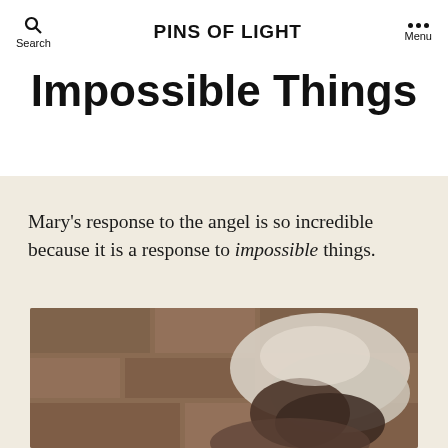Search | PINS OF LIGHT | Menu
Impossible Things
Mary's response to the angel is so incredible because it is a response to impossible things.
[Figure (photo): Close-up photo of a woman with a white head covering, seen from behind/side, against a brown stone background]